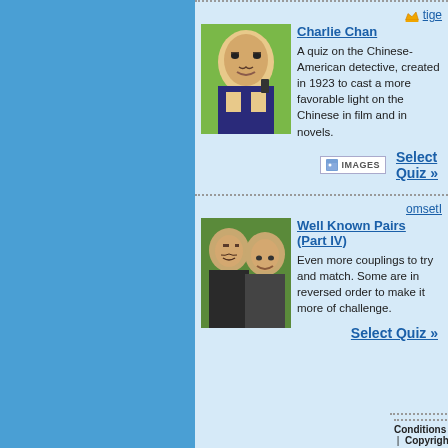[Figure (photo): Charlie Chan movie still thumbnail - man in suit holding phone]
Charlie Chan
A quiz on the Chinese-American detective, created in 1923 to cast a more favorable light on the Chinese in film and in novels.
Select Quiz »
[Figure (photo): Well Known Pairs thumbnail - two smiling men]
Well Known Pairs (Part IV)
Even more couplings to try and match. Some are in reversed order to make it more of challenge.
Select Quiz »
Conditions of Use | Privacy policy | Disclaim | Copyright